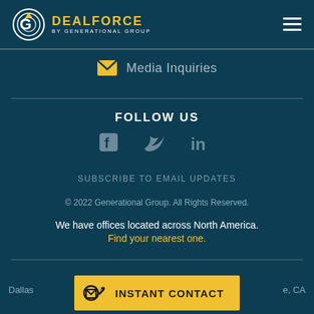[Figure (logo): DealForce by Generational Group logo with circular G emblem and hamburger menu]
Media Inquiries
FOLLOW US
[Figure (infographic): Social media icons: Facebook, Twitter, LinkedIn]
SUBSCRIBE TO EMAIL UPDATES
© 2022 Generational Group. All Rights Reserved.
We have offices located across North America. Find your nearest one.
Dallas ... e, CA
INSTANT CONTACT